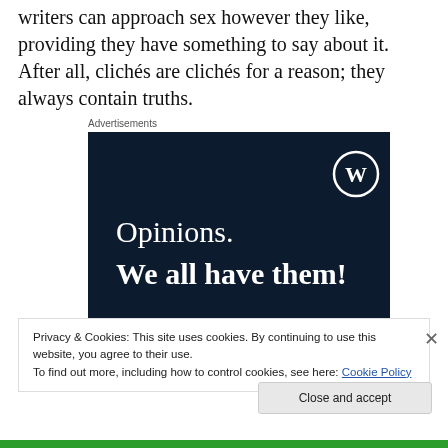writers can approach sex however they like, providing they have something to say about it. After all, clichés are clichés for a reason; they always contain truths.
Advertisements
[Figure (screenshot): WordPress advertisement banner with dark navy background. Shows WordPress logo (W in circle) top right. Text reads: 'Opinions. We all have them!' with a pink/magenta button partially visible at bottom. A white circle is partially visible at bottom right.]
Privacy & Cookies: This site uses cookies. By continuing to use this website, you agree to their use.
To find out more, including how to control cookies, see here: Cookie Policy
Close and accept